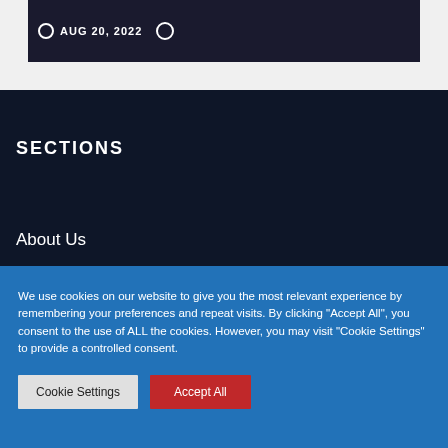[Figure (screenshot): Dark banner image with date AUG 20, 2022 and user icon]
SECTIONS
About Us
We use cookies on our website to give you the most relevant experience by remembering your preferences and repeat visits. By clicking "Accept All", you consent to the use of ALL the cookies. However, you may visit "Cookie Settings" to provide a controlled consent.
Cookie Settings  Accept All